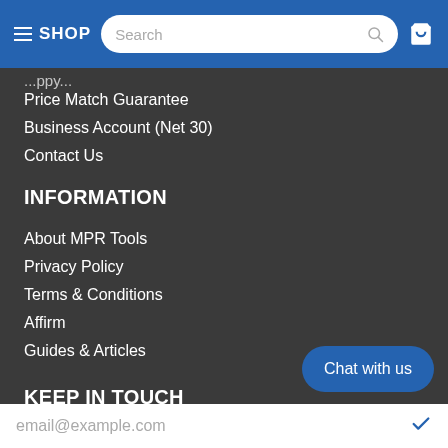SHOP (navigation bar with search and cart)
Price Match Guarantee
Business Account (Net 30)
Contact Us
INFORMATION
About MPR Tools
Privacy Policy
Terms & Conditions
Affirm
Guides & Articles
KEEP IN TOUCH
Never miss a sale and receive special o
Chat with us
email@example.com